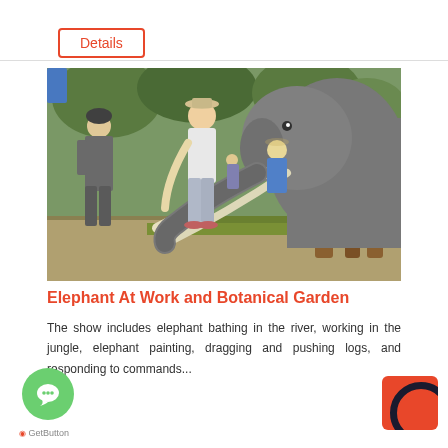Details
[Figure (photo): A person feeding or interacting with an elephant with large tusks at what appears to be an elephant sanctuary or zoo. A uniformed guard stands to the left, and another person in a hat stands in the background. The elephant reaches its trunk toward the person. Wooden posts and green foliage are visible in the background.]
Elephant At Work and Botanical Garden
The show includes elephant bathing in the river, working in the jungle, elephant painting, dragging and pushing logs, and responding to commands...